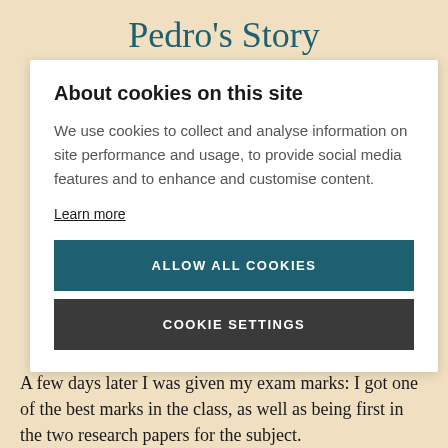Pedro's Story
About cookies on this site
We use cookies to collect and analyse information on site performance and usage, to provide social media features and to enhance and customise content.
Learn more
ALLOW ALL COOKIES
COOKIE SETTINGS
A few days later I was given my exam marks: I got one of the best marks in the class, as well as being first in the two research papers for the subject.